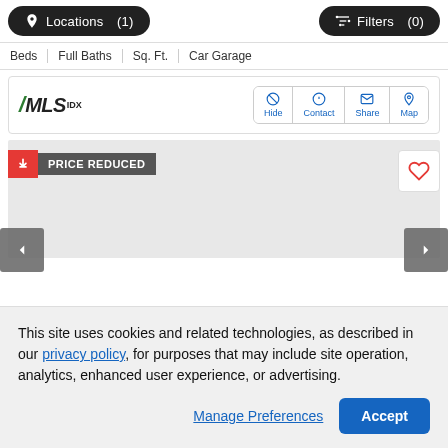[Figure (screenshot): Navigation bar with 'Locations (1)' and 'Filters (0)' buttons on dark pill-shaped backgrounds]
| Beds | Full Baths | Sq. Ft. | Car Garage |
| --- | --- | --- | --- |
[Figure (logo): FMLS IDX logo in bold italic with green slash mark]
[Figure (screenshot): Action buttons panel: Hide, Contact, Share, Map in blue with icons]
[Figure (screenshot): Price Reduced badge and heart/favorite button overlay on listing image area with left/right navigation arrows]
This site uses cookies and related technologies, as described in our privacy policy, for purposes that may include site operation, analytics, enhanced user experience, or advertising.
Manage Preferences
Accept